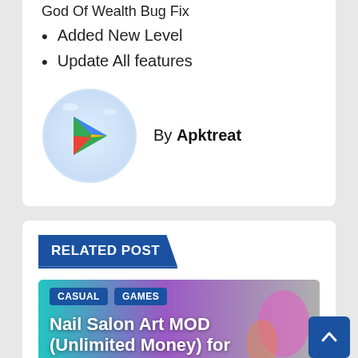God Of Wealth Bug Fix
Added New Level
Update All features
[Figure (logo): Google Play Store logo in a circular light blue badge]
By Apktreat
RELATED POST
[Figure (photo): Nail Salon Art MOD app promotional image with colorful background, tags CASUAL and GAMES, and title 'Nail Salon Art MOD (Unlimited Money) for android (']